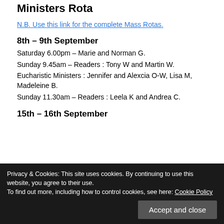Ministers Rota
N.B. Use this link for the complete Mass Rotas.
8th – 9th September
Saturday 6.00pm – Marie and Norman G.
Sunday 9.45am – Readers : Tony W and Martin W.
Eucharistic Ministers : Jennifer and Alexcia O-W, Lisa M, Madeleine B.
Sunday 11.30am – Readers : Leela K and Andrea C.
15th – 16th September
Privacy & Cookies: This site uses cookies. By continuing to use this website, you agree to their use. To find out more, including how to control cookies, see here: Cookie Policy
Accept and close